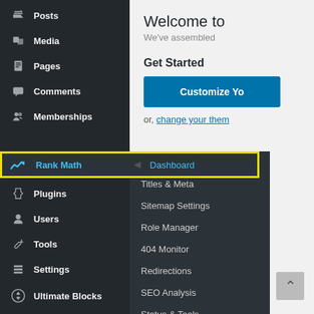[Figure (screenshot): WordPress admin dashboard left sidebar navigation showing menu items: Posts, Media, Pages, Comments, Memberships, Rank Math (highlighted with yellow border and submenu expanded showing Dashboard, General Settings, Titles & Meta, Sitemap Settings, Role Manager, 404 Monitor, Redirections, SEO Analysis, Status & Tools), Appearance, Plugins, Users, Tools, Settings, Ultimate Blocks. Right side shows partial WordPress welcome panel with 'Welcome to', 'We've assembled', 'Get Started', 'Customize Yo' button, and 'or, change your them' link.]